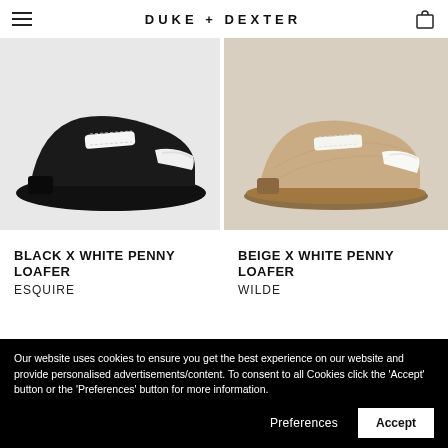DUKE + DEXTER
[Figure (photo): Black x White Penny Loafer shoe on light grey background]
[Figure (photo): Beige x White Penny Loafer shoe on light beige/grey background]
BLACK X WHITE PENNY LOAFER
ESQUIRE
BEIGE X WHITE PENNY LOAFER
WILDE
[Figure (photo): Lifestyle photo of feet/car interior, dark tones]
Our website uses cookies to ensure you get the best experience on our website and provide personalised advertisements/content. To consent to all Cookies click the 'Accept' button or the 'Preferences' button for more information.